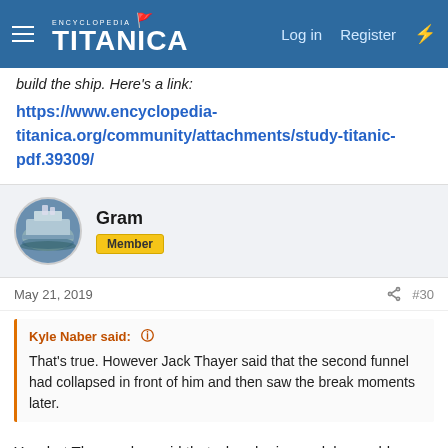Encyclopedia Titanica — Log in  Register
build the ship. Here's a link:
https://www.encyclopedia-titanica.org/community/attachments/study-titanic-pdf.39309/
Gram
Member
May 21, 2019
#30
Kyle Naber said:
That's true. However Jack Thayer said that the second funnel had collapsed in front of him and then saw the break moments later.
Yes, but Thayer also said that when he jumped, he could see the crow's nest, which was submerged by the time the second funnel fell.